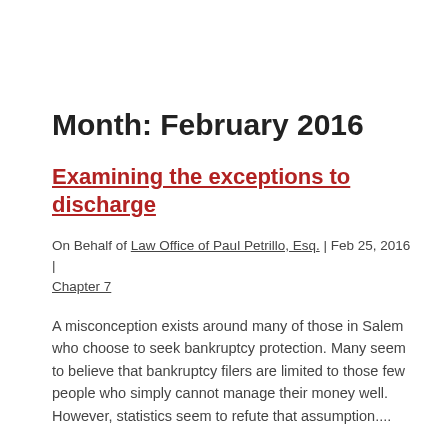Month: February 2016
Examining the exceptions to discharge
On Behalf of Law Office of Paul Petrillo, Esq. | Feb 25, 2016 | Chapter 7
A misconception exists around many of those in Salem who choose to seek bankruptcy protection. Many seem to believe that bankruptcy filers are limited to those few people who simply cannot manage their money well. However, statistics seem to refute that assumption....